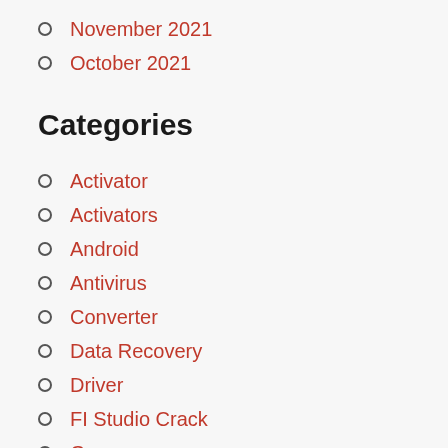November 2021
October 2021
Categories
Activator
Activators
Android
Antivirus
Converter
Data Recovery
Driver
FI Studio Crack
Games
Gaming